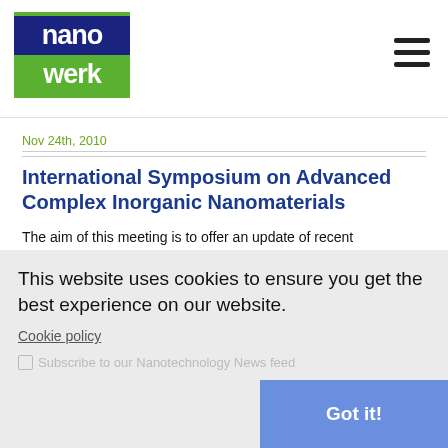nanowerk
Nov 24th, 2010
International Symposium on Advanced Complex Inorganic Nanomaterials
The aim of this meeting is to offer an update of recent innovations in both fundamental and applied aspects highlighting new advances and progress in the field of nano-materials (inorganics, ceramics, hybrids, molecular and bio-inspired).
This website uses cookies to ensure you get the best experience on our website.
Cookie policy
Subscribe to our Nanotechnology News feed
Got it!